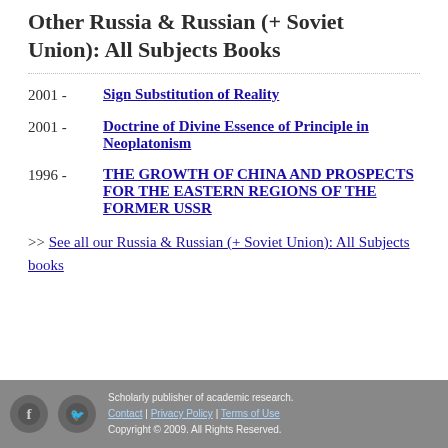Other Russia & Russian (+ Soviet Union): All Subjects Books
2001 - Sign Substitution of Reality
2001 - Doctrine of Divine Essence of Principle in Neoplatonism
1996 - THE GROWTH OF CHINA AND PROSPECTS FOR THE EASTERN REGIONS OF THE FORMER USSR
>> See all our Russia & Russian (+ Soviet Union): All Subjects books
Scholarly publisher of academic research. Contact | Privacy Policy | Terms of Use Copyright © 2009. All Rights Reserved.